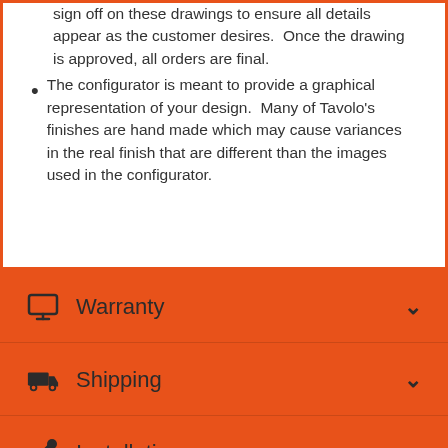sign off on these drawings to ensure all details appear as the customer desires.  Once the drawing is approved, all orders are final.
The configurator is meant to provide a graphical representation of your design.  Many of Tavolo's finishes are hand made which may cause variances in the real finish that are different than the images used in the configurator.
Warranty
Shipping
Installation